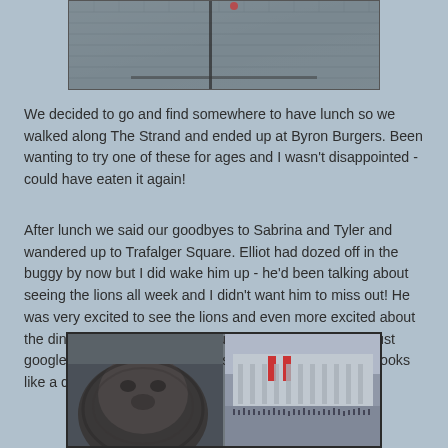[Figure (photo): Photo of a wet brick/stone paved street or plaza, viewed from above, with a dark tram rail line visible]
We decided to go and find somewhere to have lunch so we walked along The Strand and ended up at Byron Burgers. Been wanting to try one of these for ages and I wasn't disappointed - could have eaten it again!
After lunch we said our goodbyes to Sabrina and Tyler and wandered up to Trafalger Square. Elliot had dozed off in the buggy by now but I did wake him up - he'd been talking about seeing the lions all week and I didn't want him to miss out! He was very excited to see the lions and even more excited about the dinosaur skeleton on the fourth plinth. Although I've just googled it and it's actually a horse skeleton! A horse?! It looks like a dinosaur!!
[Figure (photo): Two side-by-side photos: left shows a close-up of a bronze lion statue head, right shows Trafalgar Square with classical columns building and crowds of people]